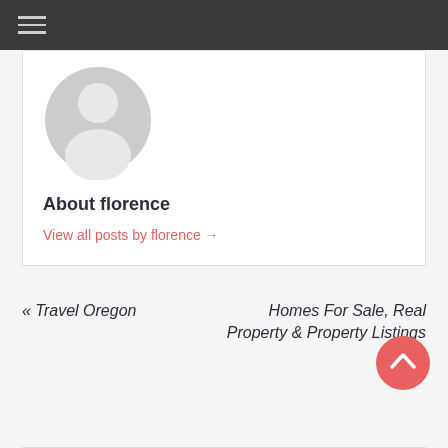[Figure (illustration): Default grey user avatar with silhouette of a person (head and shoulders)]
About florence
View all posts by florence →
« Travel Oregon
Homes For Sale, Real Property & Property Listings »
[Figure (other): Coral/salmon colored circular scroll-to-top button with a white upward chevron arrow]